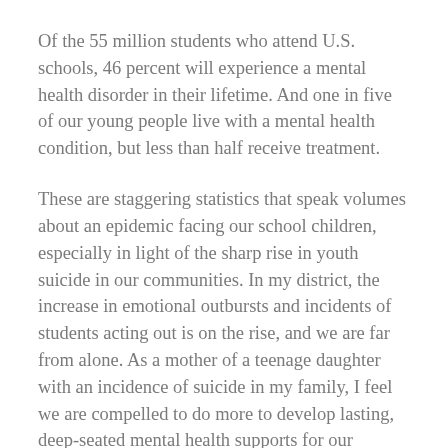Of the 55 million students who attend U.S. schools, 46 percent will experience a mental health disorder in their lifetime. And one in five of our young people live with a mental health condition, but less than half receive treatment.
These are staggering statistics that speak volumes about an epidemic facing our school children, especially in light of the sharp rise in youth suicide in our communities. In my district, the increase in emotional outbursts and incidents of students acting out is on the rise, and we are far from alone. As a mother of a teenage daughter with an incidence of suicide in my family, I feel we are compelled to do more to develop lasting, deep-seated mental health supports for our students.
Here's how it boils down: When considering National